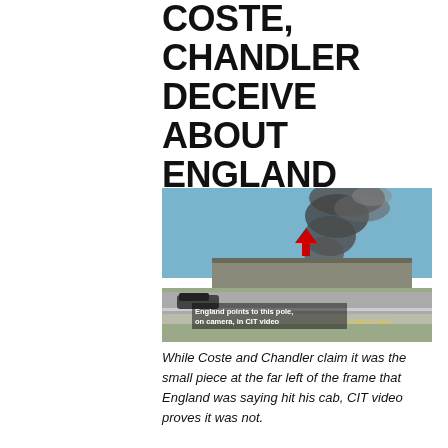COSTE, CHANDLER DECEIVE ABOUT ENGLAND CLAIMS: PART 2
[Figure (photo): Photograph showing a large plume of black smoke rising from a building (Pentagon), with a highway in the foreground. A red arrow points down to a pole. Text overlay reads: 'England points to this pole, on camera, in CIT video' with a Discovery Channel watermark.]
While Coste and Chandler claim it was the small piece at the far left of the frame that England was saying hit his cab, CIT video proves it was not.